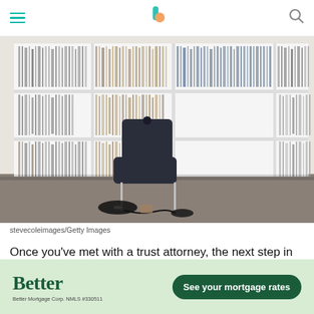Hamburger menu | Kiplinger logo | Search icon
[Figure (photo): Room with white shelving units filled with vinyl records, a dark armless chair in the center, and vinyl records on a concrete floor with headphone cables.]
stevecoleimages/Getty Images
Once you've met with a trust attorney, the next step in settling a trust is to establish date-of-death values for
[Figure (other): Advertisement for Better Mortgage - green background with Better logo and 'See your mortgage rates' CTA button. Better Mortgage Corp. NMLS #330511]